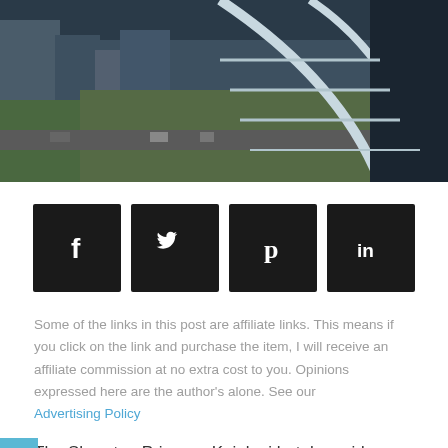[Figure (photo): Aerial view of city buildings and streets from a high-rise balcony with curved railing, likely Waikiki/Honolulu area]
[Figure (infographic): Social sharing buttons row: Facebook (f), Twitter (bird), Pinterest (P), LinkedIn (in) — all white icons on black square backgrounds]
Some of the links in this post are affiliate links. This means if you click on the link and purchase the item, I will receive an affiliate commission at no extra cost to you. Opinions expressed here are the author's alone. See our Advertising Policy
The Sheraton Princess Kaiulani hotel provides a budget friendly option in the heart of Waikiki. On this visit I learned about the unique history behind the hotel along with some helpful tips for your next stay. Video included!